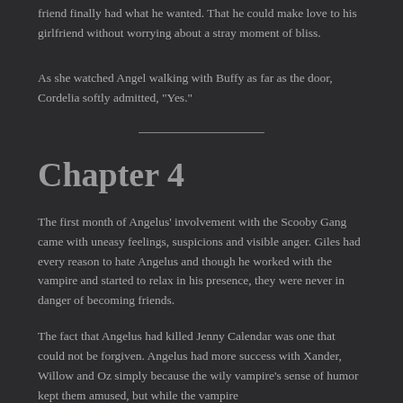friend finally had what he wanted. That he could make love to his girlfriend without worrying about a stray moment of bliss.
As she watched Angel walking with Buffy as far as the door, Cordelia softly admitted, "Yes."
Chapter 4
The first month of Angelus' involvement with the Scooby Gang came with uneasy feelings, suspicions and visible anger. Giles had every reason to hate Angelus and though he worked with the vampire and started to relax in his presence, they were never in danger of becoming friends.
The fact that Angelus had killed Jenny Calendar was one that could not be forgiven. Angelus had more success with Xander, Willow and Oz simply because the wily vampire's sense of humor kept them amused, but while the vampire